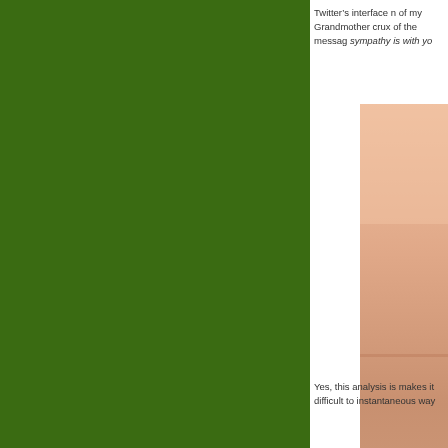[Figure (other): Large green background panel occupying the left roughly two-thirds of the page]
Twitter’s interface n of my Grandmother crux of the messag sympathy is with yo
[Figure (photo): Partial photo visible at the right edge of the page showing a warm peach/skin-tone colored image, likely a person]
Yes, this analysis is makes it difficult to instantaneous way